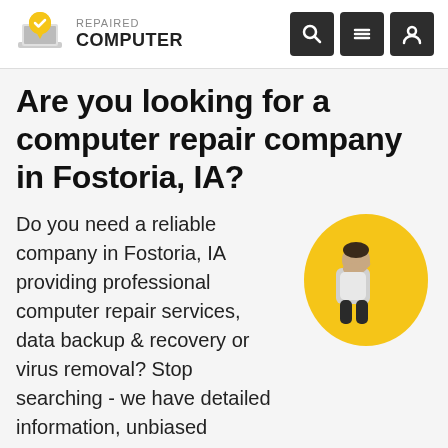REPAIRED COMPUTER
Are you looking for a computer repair company in Fostoria, IA?
[Figure (illustration): Illustration of a man leaning forward looking into distance, on a yellow blob background]
Do you need a reliable company in Fostoria, IA providing professional computer repair services, data backup & recovery or virus removal? Stop searching - we have detailed information, unbiased customer reviews and recommendations about local professionals.